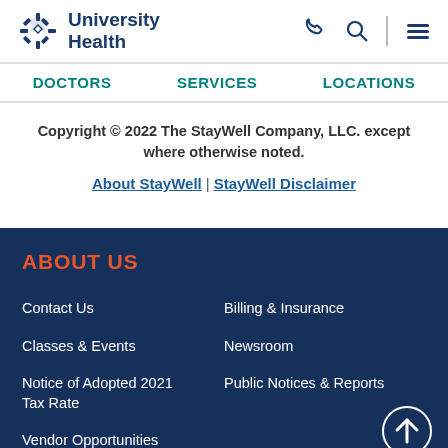University Health
DOCTORS | SERVICES | LOCATIONS
Copyright © 2022 The StayWell Company, LLC. except where otherwise noted.
About StayWell | StayWell Disclaimer
ABOUT US
Contact Us
Billing & Insurance
Classes & Events
Newsroom
Notice of Adopted 2021 Tax Rate
Public Notices & Reports
Vendor Opportunities